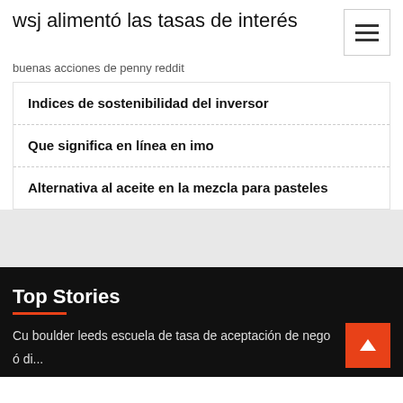wsj alimentó las tasas de interés
buenas acciones de penny reddit
Indices de sostenibilidad del inversor
Que significa en línea en imo
Alternativa al aceite en la mezcla para pasteles
Top Stories
Cu boulder leeds escuela de tasa de aceptación de nego
ó di...